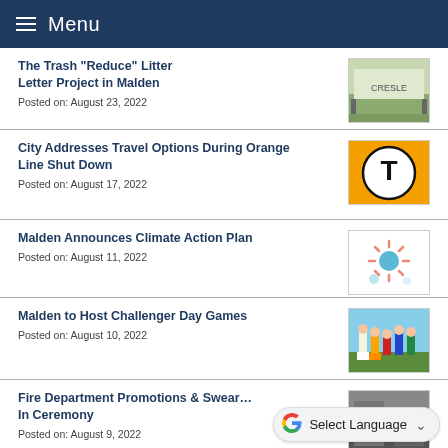Menu
The Trash “Reduce” Litter Letter Project in Malden
Posted on: August 23, 2022
City Addresses Travel Options During Orange Line Shut Down
Posted on: August 17, 2022
Malden Announces Climate Action Plan
Posted on: August 11, 2022
Malden to Host Challenger Day Games
Posted on: August 10, 2022
Fire Department Promotions & Swearing In Ceremony
Posted on: August 9, 2022